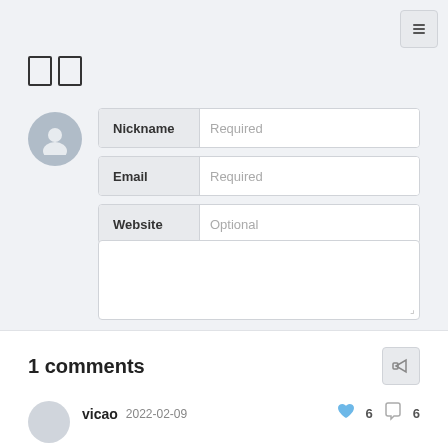[Figure (screenshot): Top-right icon button with paragraph/menu symbol]
[Figure (screenshot): Two empty rectangle boxes side by side (UI icon)]
[Figure (screenshot): Comment form with Nickname, Email, Website fields, textarea, toolbar with emoji, image, markdown, Preview and Send buttons]
1 comments
[Figure (screenshot): Share/bookmark icon button top right of comments section]
vicao 2022-02-09